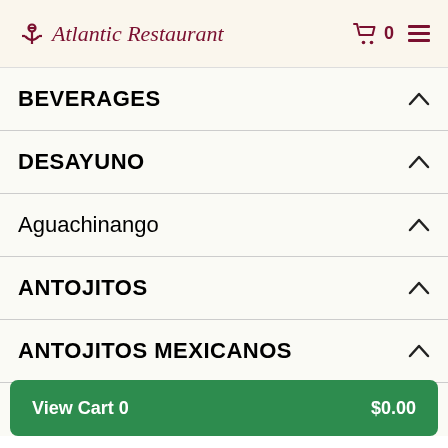Atlantic Restaurant — cart: 0
BEVERAGES
DESAYUNO
Aguachinango
ANTOJITOS
ANTOJITOS MEXICANOS
View Cart 0   $0.00